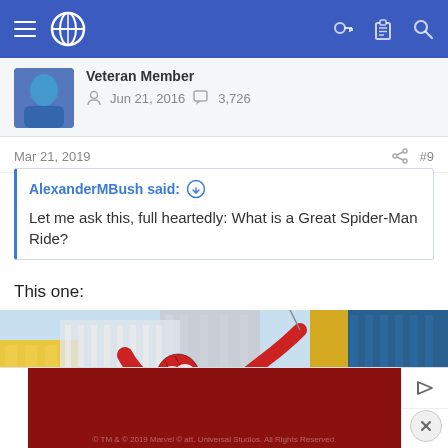Navigation bar with menu, globe icon, key icon, clipboard icon, and search icon
Veteran Member
Jun 21, 2016   3,726
Mar 21, 2019   #9
AlexanderMBush said: ↑
Let me ask this, full heartedly: What is a Great Spider-Man Ride?
This one:
[Figure (photo): Spider-Man statue/figure at Universal Studios theme park, showing Spider-Man climbing/swinging between colorful buildings under a blue sky. Scroll-up and scroll-down navigation buttons visible in lower right.]
[Figure (screenshot): Advertisement bar at bottom: dark red/maroon background ad with play and close (X) buttons. Close (X) circle button on right.]